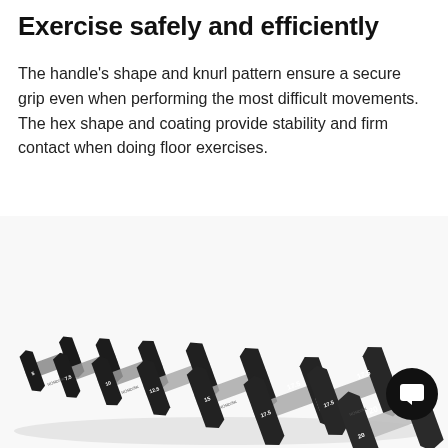Exercise safely and efficiently
The handle's shape and knurl pattern ensure a secure grip even when performing the most difficult movements. The hex shape and coating provide stability and firm contact when doing floor exercises.
[Figure (photo): A row of black hex rubber dumbbells arranged diagonally from small to large weights (ranging from approximately 5 lbs to 20 lbs), displayed on a white background. The dumbbells increase in size from upper-left to lower-right.]